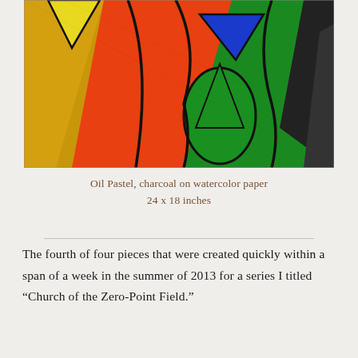[Figure (illustration): Oil pastel and charcoal artwork showing abstract colorful shapes — orange, green, yellow, blue triangle, and black — with bold outlines on textured paper.]
Oil Pastel, charcoal on watercolor paper
24 x 18 inches
The fourth of four pieces that were created quickly within a span of a week in the summer of 2013 for a series I titled “Church of the Zero-Point Field.”